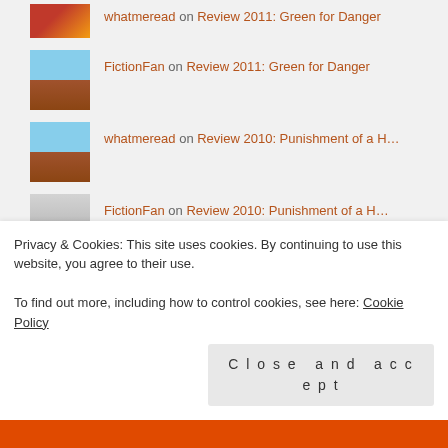whatmeread on Review 2011: Green for Danger
FictionFan on Review 2011: Green for Danger
whatmeread on Review 2010: Punishment of a H…
FictionFan on Review 2010: Punishment of a H…
whatmeread on If I Gave the Award
thecontentreader on If I Gave the Award
Privacy & Cookies: This site uses cookies. By continuing to use this website, you agree to their use.
To find out more, including how to control cookies, see here: Cookie Policy
Close and accept